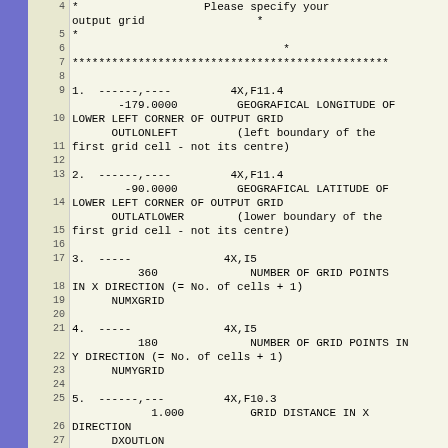Code listing showing grid configuration parameters for geographic output grid specification including OUTLONLEFT, OUTLATLOWER, NUMXGRID, NUMYGRID, DXOUTLON variables with format descriptors and line numbers 4-28
| Line | Code |
| --- | --- |
| 4 | *                    Please specify your output grid                 * |
| 5 | *                                                * |
| 6 | ************************************************ |
| 7 |  |
| 8 | 1.  ------,----         4X,F11.4 |
| 9 |        -179.0000         GEOGRAFICAL LONGITUDE OF LOWER LEFT CORNER OF OUTPUT GRID |
| 10 |       OUTLONLEFT         (left boundary of the first grid cell - not its centre) |
| 11 |  |
| 12 | 2.  ------,----         4X,F11.4 |
| 13 |         -90.0000         GEOGRAFICAL LATITUDE OF LOWER LEFT CORNER OF OUTPUT GRID |
| 14 |       OUTLATLOWER        (lower boundary of the first grid cell - not its centre) |
| 15 |  |
| 16 | 3.  -----              4X,I5 |
| 17 |           360              NUMBER OF GRID POINTS IN X DIRECTION (= No. of cells + 1) |
| 18 |       NUMXGRID |
| 19 |  |
| 20 | 4.  -----              4X,I5 |
| 21 |           180              NUMBER OF GRID POINTS IN Y DIRECTION (= No. of cells + 1) |
| 22 |       NUMYGRID |
| 23 |  |
| 24 | 5.  ------,---         4X,F10.3 |
| 25 |             1.000          GRID DISTANCE IN X DIRECTION |
| 26 |       DXOUTLON |
| 27 |  |
| 28 | 6.                     4X,F10.3 |